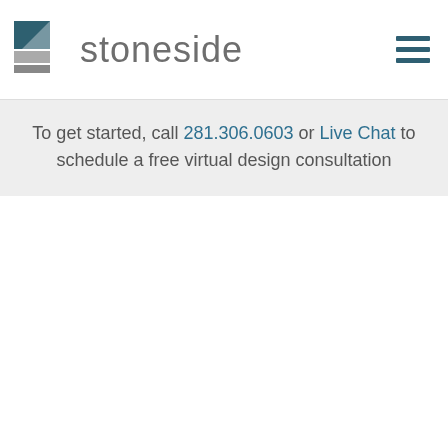stoneside
To get started, call 281.306.0603 or Live Chat to schedule a free virtual design consultation